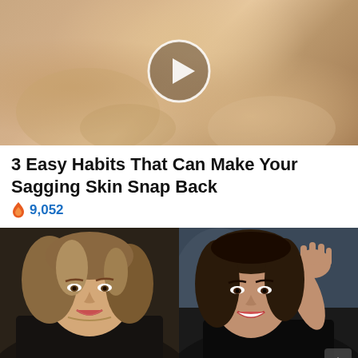[Figure (photo): Close-up photo of skin with cream/lotion being applied, with a circular play button overlay indicating a video]
3 Easy Habits That Can Make Your Sagging Skin Snap Back
9,052
[Figure (photo): Side-by-side photos of two women: Hillary Clinton on the left smiling, and Kamala Harris on the right waving and smiling]